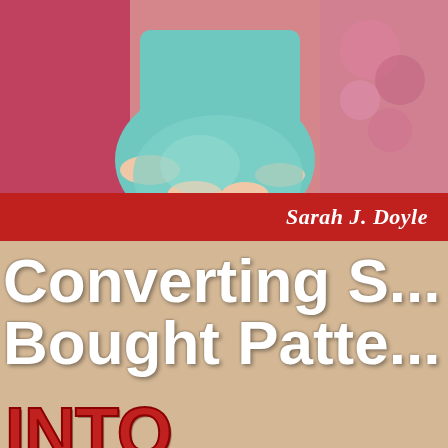[Figure (photo): Book cover photo showing a pregnant woman in a teal/turquoise dress resting on a pink couch, holding her pregnant belly. Background shows pink and teal colors.]
Sarah J. Doyle
Converting S... Bought Patte... INTO MATERNITY
Converting Store-bought Patterns into Maternity - Book cover by Sarah J. Doyle